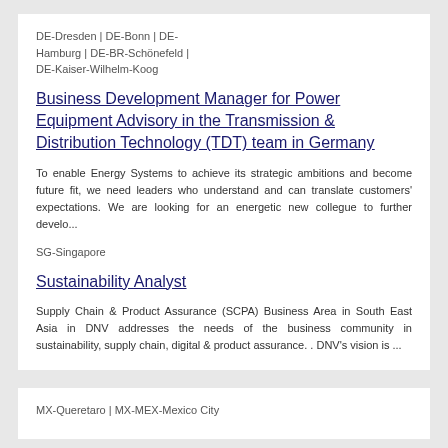DE-Dresden | DE-Bonn | DE-Hamburg | DE-BR-Schönefeld | DE-Kaiser-Wilhelm-Koog
Business Development Manager for Power Equipment Advisory in the Transmission & Distribution Technology (TDT) team in Germany
To enable Energy Systems to achieve its strategic ambitions and become future fit, we need leaders who understand and can translate customers' expectations. We are looking for an energetic new collegue to further develo...
SG-Singapore
Sustainability Analyst
Supply Chain & Product Assurance (SCPA) Business Area in South East Asia in DNV addresses the needs of the business community in sustainability, supply chain, digital & product assurance. . DNV's vision is ...
MX-Queretaro | MX-MEX-Mexico City